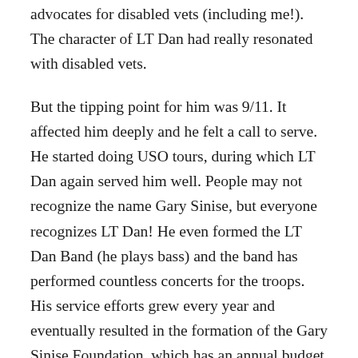advocates for disabled vets (including me!). The character of LT Dan had really resonated with disabled vets.
But the tipping point for him was 9/11. It affected him deeply and he felt a call to serve. He started doing USO tours, during which LT Dan again served him well. People may not recognize the name Gary Sinise, but everyone recognizes LT Dan! He even formed the LT Dan Band (he plays bass) and the band has performed countless concerts for the troops. His service efforts grew every year and eventually resulted in the formation of the Gary Sinise Foundation, which has an annual budget of $30 million. The foundation has several focus areas, including building accessible housing for disabled vets, hosting festivals near military hospitals that patients and their families can attend, and sending WWII veterans to the WWII Museum in